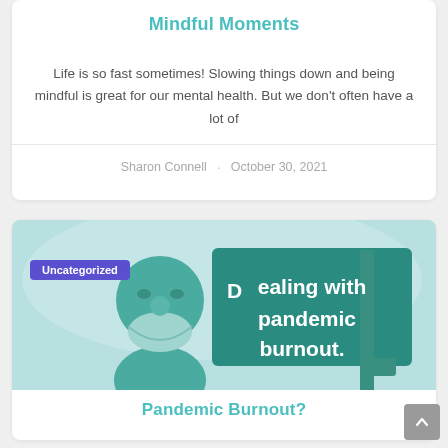Mindful Moments
Life is so fast sometimes! Slowing things down and being mindful is great for our mental health. But we don't often have a lot of
Sharon Connell  ·  October 30, 2021
[Figure (illustration): Illustration of a person wearing a face mask in profile view, with text 'Dealing with pandemic burnout.' on a teal billboard/sign background. Light blue and teal tones.]
Pandemic Burnout?